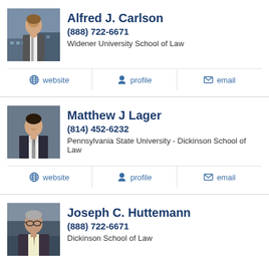[Figure (photo): Headshot of Alfred J. Carlson, a man in professional attire]
Alfred J. Carlson
(888) 722-6671
Widener University School of Law
website   profile   email
[Figure (photo): Headshot of Matthew J Lager, a man in a dark suit]
Matthew J Lager
(814) 452-6232
Pennsylvania State University - Dickinson School of Law
website   profile   email
[Figure (photo): Headshot of Joseph C. Huttemann, a man with glasses]
Joseph C. Huttemann
(888) 722-6671
Dickinson School of Law